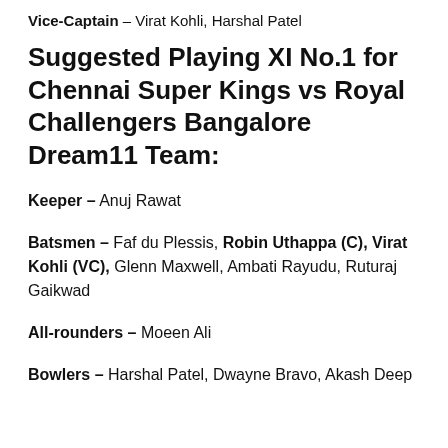Vice-Captain – Virat Kohli, Harshal Patel
Suggested Playing XI No.1 for Chennai Super Kings vs Royal Challengers Bangalore Dream11 Team:
Keeper – Anuj Rawat
Batsmen – Faf du Plessis, Robin Uthappa (C), Virat Kohli (VC), Glenn Maxwell, Ambati Rayudu, Ruturaj Gaikwad
All-rounders – Moeen Ali
Bowlers – Harshal Patel, Dwayne Bravo, Akash Deep